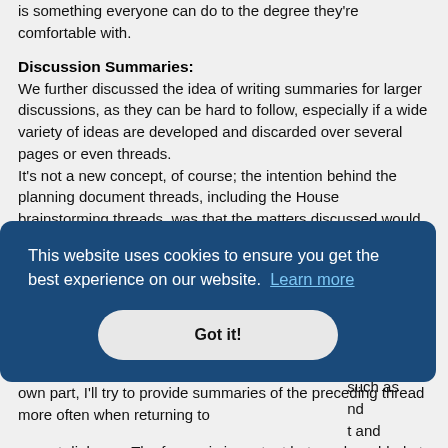is something everyone can do to the degree they're comfortable with.
Discussion Summaries:
We further discussed the idea of writing summaries for larger discussions, as they can be hard to follow, especially if a wide variety of ideas are developed and discarded over several pages or even threads.
It's not a new concept, of course; the intention behind the planning document threads, including the House brainstorming threads, was that the matters discussed would, in the end, be gathered into a single post or document, and among others Yeti has done a rather good job of that for [url=http://tamriel-rebuilt.org/old_forum/viewtopic.php?t=24548]Andothren[/url], though as Andothren is still not complete his summary may require adjustment at a later date.
Klep has volunteered to provide summaries for some threads, but naturally others are encouraged to do so as well; for my own part, I'll try to provide summaries of the preceding thread more often when returning to
This website uses cookies to ensure you get the best experience on our website.  Learn more
Got it!
such as nd t and savant dialogue. The former is important but can be added at any time.